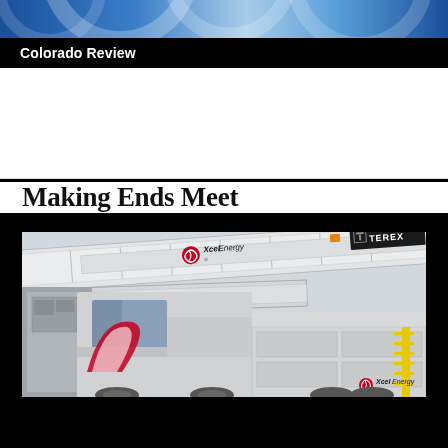[Figure (photo): Abstract blue circular design banner at the top of the page]
Colorado Review
Making Ends Meet
[Figure (photo): Xcel Energy utility truck with a Terex crane boom arm. The large white truck and crane are branded with Xcel Energy logos. A Terex logo appears on the crane. Orange traffic cones visible near the truck.]